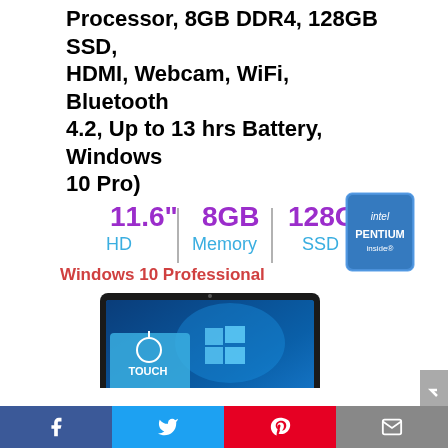Processor, 8GB DDR4, 128GB SSD, HDMI, Webcam, WiFi, Bluetooth 4.2, Up to 13 hrs Battery, Windows 10 Pro)
[Figure (photo): HP laptop product image showing 11.6" HD display with Windows 10 touchscreen, Intel Pentium badge, specs showing 8GB Memory and 128GB SSD, with Windows 10 Professional label]
Facebook | Twitter | Pinterest | Email